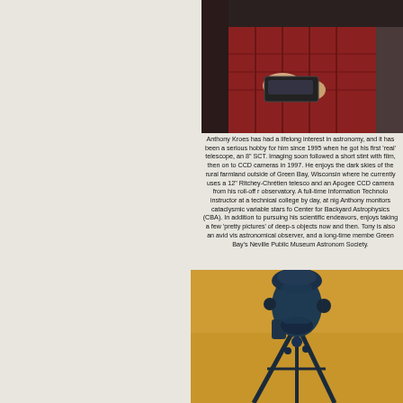[Figure (photo): Close-up photo of a person in a red plaid shirt holding a handheld device or controller]
Anthony Kroes has had a lifelong interest in astronomy, and it has been a serious hobby for him since 1995 when he got his first 'real' telescope, an 8" SCT. Imaging soon followed a short stint with film, then on to CCD cameras in 1997. He enjoys the dark skies of the rural farmland outside of Green Bay, Wisconsin where he currently uses a 12" Ritchey-Chrétien telescope and an Apogee CCD camera from his roll-off roof observatory. A full-time Information Technology instructor at a technical college by day, at night Anthony monitors cataclysmic variable stars for the Center for Backyard Astrophysics (CBA). In addition to pursuing his scientific endeavors, he enjoys taking a few 'pretty pictures' of deep-sky objects now and then. Tony is also an avid visual astronomical observer, and a long-time member of Green Bay's Neville Public Museum Astronomical Society.
[Figure (photo): Photo of a blue telescope or astronomical instrument mounted on a tripod against an orange/tan background, viewed from above]